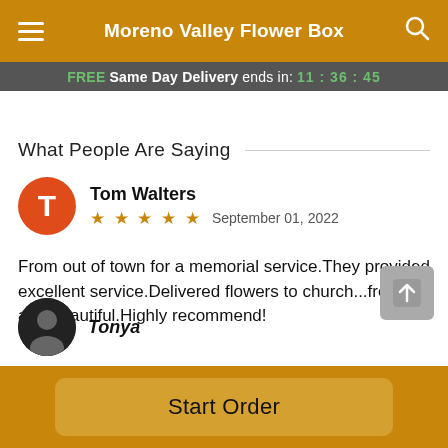Moreno Valley Flower Box
FREE Same Day Delivery ends in: 11:36:45
What People Are Saying
Tom Walters
★★★★★  September 01, 2022
From out of town for a memorial service.They provided excellent service.Delivered flowers to church...fresh and beautiful.Highly recommend!
Tonya
Start Order